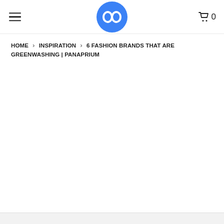Panaprium logo with hamburger menu and cart icon showing 0
HOME > INSPIRATION > 6 FASHION BRANDS THAT ARE GREENWASHING | PANAPRIUM